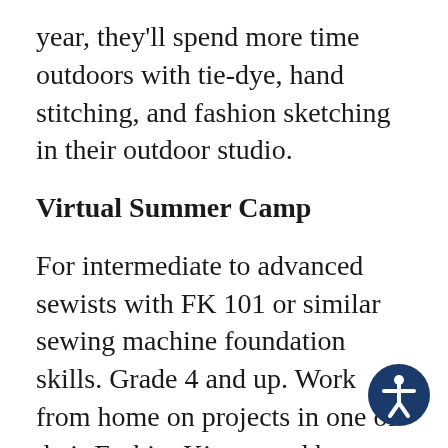year, they'll spend more time outdoors with tie-dye, hand stitching, and fashion sketching in their outdoor studio.
Virtual Summer Camp
For intermediate to advanced sewists with FK 101 or similar sewing machine foundation skills. Grade 4 and up. Work from home on projects in one of their FashionKit curated boxes selected after you register for camp. They 're going to ship everything you need or make it available to pick up the curbside. Using a unique combination of their digital instructions, the Zoom Meeting App, and the special camp pack along they